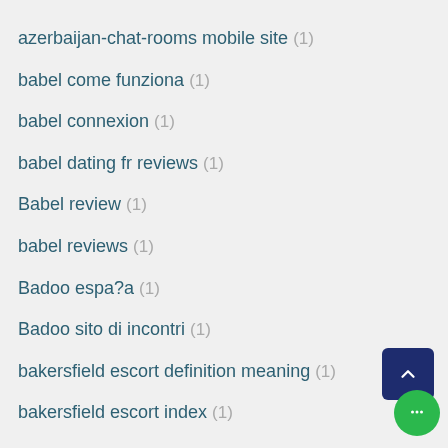azerbaijan-chat-rooms mobile site (1)
babel come funziona (1)
babel connexion (1)
babel dating fr reviews (1)
Babel review (1)
babel reviews (1)
Badoo espa?a (1)
Badoo sito di incontri (1)
bakersfield escort definition meaning (1)
bakersfield escort index (1)